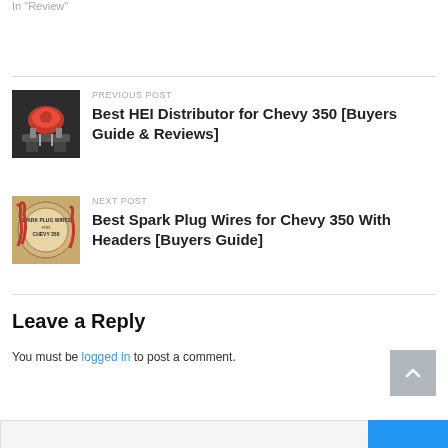In "Review"
[Figure (photo): Car engine with red components, HEI distributor area]
PREVIOUS POST
Best HEI Distributor for Chevy 350 [Buyers Guide & Reviews]
[Figure (photo): Spark plug wires for Chevy 350 product image with red wires and beige background label]
NEXT POST
Best Spark Plug Wires for Chevy 350 With Headers [Buyers Guide]
Leave a Reply
You must be logged in to post a comment.